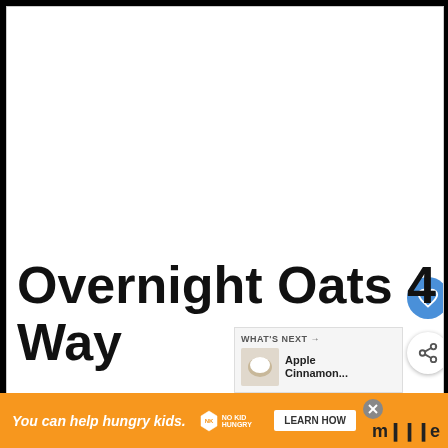[Figure (photo): White/blank photo area at top of article page]
Overnight Oats 4 Way
[Figure (illustration): Heart (favorite) button - blue circle with heart icon]
[Figure (illustration): Share button - white circle with share icon]
[Figure (photo): What's Next panel showing Apple Cinnamon recipe thumbnail]
WHAT'S NEXT → Apple Cinnamon...
You can help hungry kids.  NO KID HUNGRY  LEARN HOW